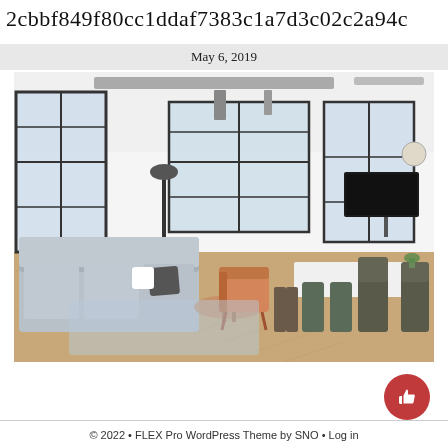2cbbf849f80cc1ddaf7383c1a7d3c02c2a94c
May 6, 2019
[Figure (photo): Interior photo of a modern open-plan living and dining space with large industrial-style windows, gray sofas, a light wood herringbone floor, a long white dining table with dark chairs, a mounted flat-screen TV, and an orange accent chair.]
© 2022 • FLEX Pro WordPress Theme by SNO • Log in